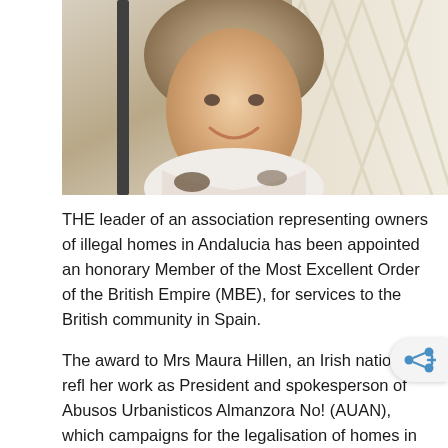[Figure (photo): Photograph of a smiling middle-aged woman with shoulder-length blonde-grey hair, wearing a white and brown patterned top, photographed outdoors against a light wooden lattice background.]
THE leader of an association representing owners of illegal homes in Andalucia has been appointed an honorary Member of the Most Excellent Order of the British Empire (MBE), for services to the British community in Spain.
The award to Mrs Maura Hillen, an Irish national, refl her work as President and spokesperson of Abusos Urbanisticos Almanzora No! (AUAN), which campaigns for the legalisation of homes in the Almanzora Valley, about the number of properties owned by British expats and